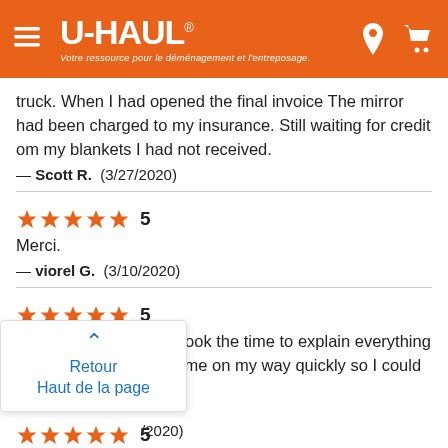[Figure (logo): U-Haul orange header with hamburger menu, U-HAUL logo, tagline in French 'Votre ressource pour le déménagement et l'entreposage.', location pin icon, and shopping cart icon]
truck. When I had opened the final invoice The mirror had been charged to my insurance. Still waiting for credit om my blankets I had not received.
— Scott R.  (3/27/2020)
★★★★★ 5
Merci.
— viorel G.  (3/10/2020)
★★★★★ 5
Friendly and efficient. Took the time to explain everything and offer help, yet had me on my way quickly so I could start packing.
Retour
Haut de la page
★★★★★ 5